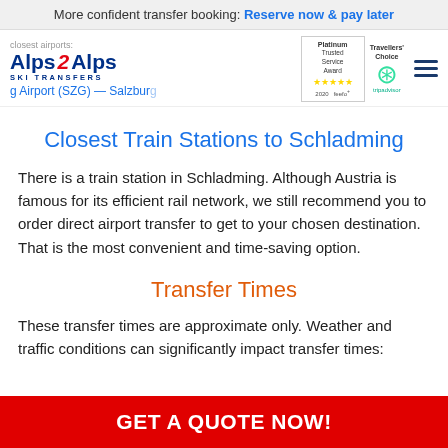More confident transfer booking: Reserve now & pay later
[Figure (logo): Alps 2 Alps Ski Transfers logo with navigation bar showing Platinum Trusted Service Award (feefo, 2020) and Tripadvisor Travellers Choice badge and hamburger menu. Subtitle: closest airports / Salzburg Airport (SZG) — Salzbur...]
Closest Train Stations to Schladming
There is a train station in Schladming. Although Austria is famous for its efficient rail network, we still recommend you to order direct airport transfer to get to your chosen destination. That is the most convenient and time-saving option.
Transfer Times
These transfer times are approximate only. Weather and traffic conditions can significantly impact transfer times:
GET A QUOTE NOW!